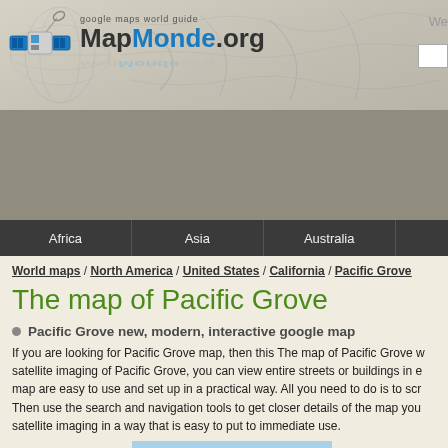[Figure (logo): MapMonde.org logo with satellite icon and world map background. Text reads 'google maps world guide MapMonde.org']
[Figure (other): Gray advertisement banner area]
Africa / Asia / Australia
World maps / North America / United States / California / Pacific Grove
The map of Pacific Grove
Pacific Grove new, modern, interactive google map
If you are looking for Pacific Grove map, then this The map of Pacific Grove with satellite imaging of Pacific Grove, you can view entire streets or buildings in e... map are easy to use and set up in a practical way. All you need to do is to scr... Then use the search and navigation tools to get closer details of the map you... satellite imaging in a way that is easy to put to immediate use.
[Figure (other): Light blue map preview area at bottom]